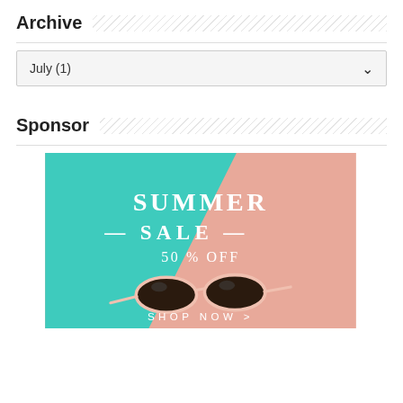Archive
July (1)
Sponsor
[Figure (illustration): Summer Sale advertisement banner: teal and pink diagonal split background with sunglasses, text reads SUMMER SALE 50% OFF SHOP NOW >]